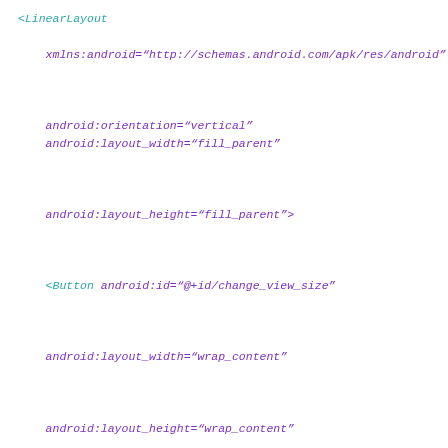<LinearLayout
    xmlns:android="http://schemas.android.com/apk/res/android"


    android:orientation="vertical"
    android:layout_width="fill_parent"


    android:layout_height="fill_parent">


    <Button android:id="@+id/change_view_size"


    android:layout_width="wrap_content"


    android:layout_height="wrap_content"


    android:text="ChangeSize" android:onClick="onViewClick" />


    <ImageView android:id="@+id/logo"
    android:layout_width="wrap_content"